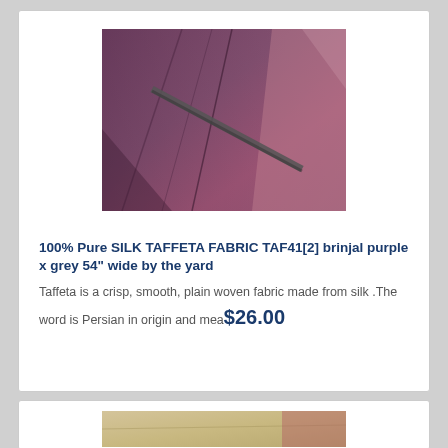[Figure (photo): Close-up photo of silk taffeta fabric in brinjal purple and grey colors, with creases and folds visible, a rod or bar crossing diagonally.]
100% Pure SILK TAFFETA FABRIC TAF41[2] brinjal purple x grey 54" wide by the yard
Taffeta is a crisp, smooth, plain woven fabric made from silk .The word is Persian in origin and mea... $26.00
[Figure (photo): Partial photo of a second fabric product, beige/cream colored fabric.]